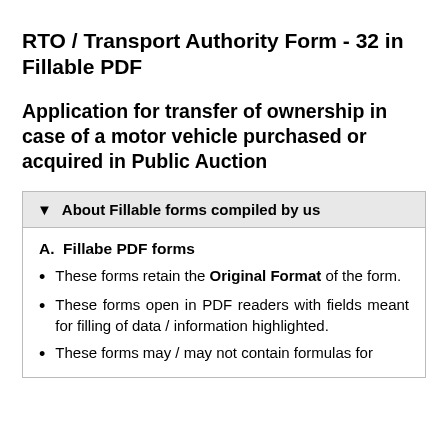RTO / Transport Authority Form - 32 in Fillable PDF
Application for transfer of ownership in case of a motor vehicle purchased or acquired in Public Auction
About Fillable forms compiled by us
A.  Fillabe PDF forms
These forms retain the Original Format of the form.
These forms open in PDF readers with fields meant for filling of data / information highlighted.
These forms may / may not contain formulas for